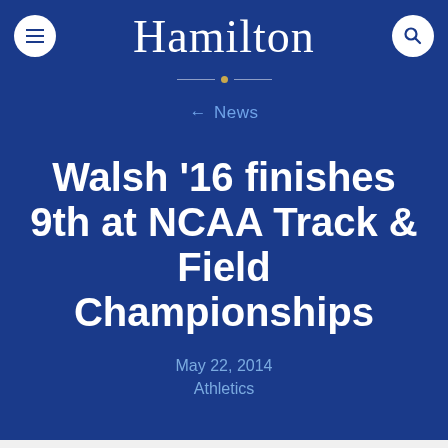Hamilton
← News
Walsh '16 finishes 9th at NCAA Track & Field Championships
May 22, 2014
Athletics